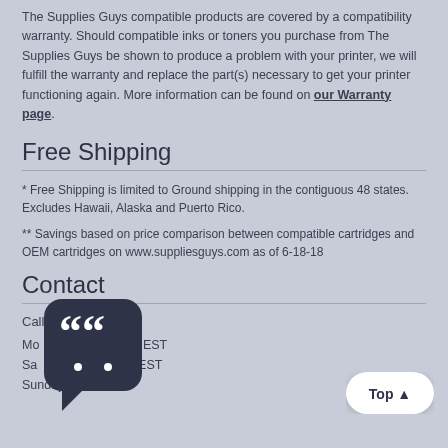The Supplies Guys compatible products are covered by a compatibility warranty. Should compatible inks or toners you purchase from The Supplies Guys be shown to produce a problem with your printer, we will fulfill the warranty and replace the part(s) necessary to get your printer functioning again. More information can be found on our Warranty page.
Free Shipping
* Free Shipping is limited to Ground shipping in the contiguous 48 states. Excludes Hawaii, Alaska and Puerto Rico.
** Savings based on price comparison between compatible cartridges and OEM cartridges on www.suppliesguys.com as of 6-18-18
Contact
Call: 888-722-0390
Mo[nday] 8am to 9 pm EST
Sa[turday] to 6:30 pm EST
Sunday Closed
[Figure (illustration): Chat widget icon with quotation marks and smiley face on dark navy rounded square background with speech bubble tail]
[Figure (illustration): Top button - white rounded rectangle with 'Top ^' text]